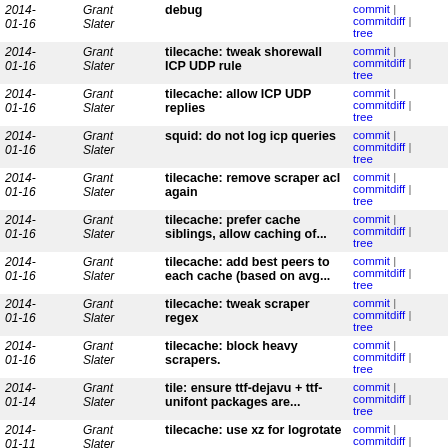| Date | Author | Commit message | Actions |
| --- | --- | --- | --- |
| 2014-01-16 | Grant Slater | debug | commit | commitdiff | tree |
| 2014-01-16 | Grant Slater | tilecache: tweak shorewall ICP UDP rule | commit | commitdiff | tree |
| 2014-01-16 | Grant Slater | tilecache: allow ICP UDP replies | commit | commitdiff | tree |
| 2014-01-16 | Grant Slater | squid: do not log icp queries | commit | commitdiff | tree |
| 2014-01-16 | Grant Slater | tilecache: remove scraper acl again | commit | commitdiff | tree |
| 2014-01-16 | Grant Slater | tilecache: prefer cache siblings, allow caching of... | commit | commitdiff | tree |
| 2014-01-16 | Grant Slater | tilecache: add best peers to each cache (based on avg... | commit | commitdiff | tree |
| 2014-01-16 | Grant Slater | tilecache: tweak scraper regex | commit | commitdiff | tree |
| 2014-01-16 | Grant Slater | tilecache: block heavy scrapers. | commit | commitdiff | tree |
| 2014-01-14 | Grant Slater | tile: ensure ttf-dejavu + ttf-unifont packages are... | commit | commitdiff | tree |
| 2014-01-11 | Grant Slater | tilecache: use xz for logrotate | commit | commitdiff | tree |
next
Chef configuration management public repo for configuring & maintaining the OpenStreetMap servers.
Atom RSS